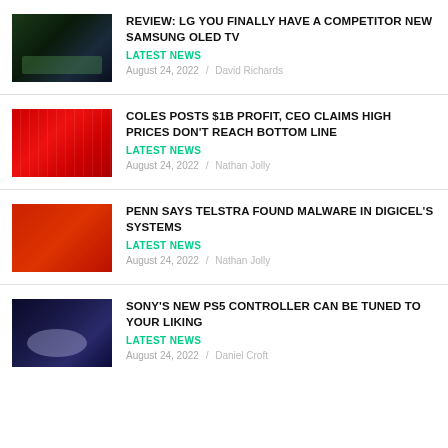[Figure (photo): Dark forest scene, appears to be a TV screen displaying nature scene]
REVIEW: LG YOU FINALLY HAVE A COMPETITOR NEW SAMSUNG OLED TV
LATEST NEWS
August 24, 2022 / David Richards
[Figure (photo): Red Coles supermarket shopping baskets stacked]
COLES POSTS $1B PROFIT, CEO CLAIMS HIGH PRICES DON'T REACH BOTTOM LINE
LATEST NEWS
August 24, 2022 / Nathan Jolly
[Figure (photo): Red building exterior, possibly Telstra or Digicel office]
PENN SAYS TELSTRA FOUND MALWARE IN DIGICEL'S SYSTEMS
LATEST NEWS
August 24, 2022 / Nathan Jolly
[Figure (photo): Sony PS5 DualSense controller on blue background]
SONY'S NEW PS5 CONTROLLER CAN BE TUNED TO YOUR LIKING
LATEST NEWS
August 24, 2022 / Daniel Croft